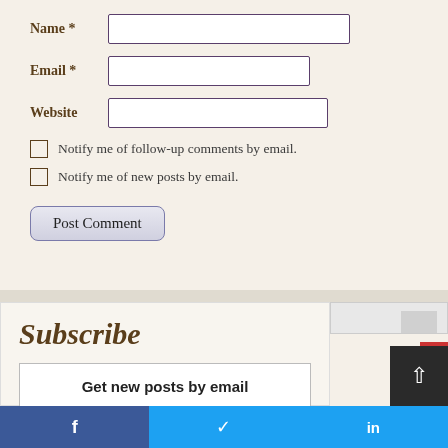Name *
Email *
Website
Notify me of follow-up comments by email.
Notify me of new posts by email.
Post Comment
Subscribe
Get new posts by email
f
t
in